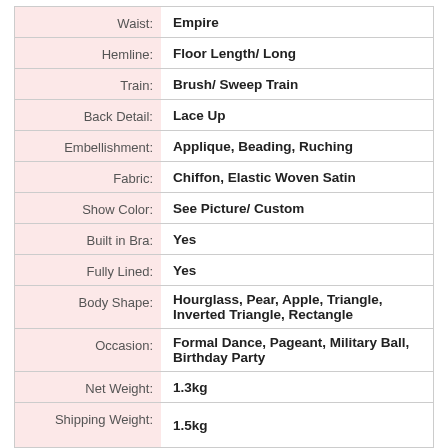| Attribute | Value |
| --- | --- |
| Waist: | Empire |
| Hemline: | Floor Length/ Long |
| Train: | Brush/ Sweep Train |
| Back Detail: | Lace Up |
| Embellishment: | Applique, Beading, Ruching |
| Fabric: | Chiffon, Elastic Woven Satin |
| Show Color: | See Picture/ Custom |
| Built in Bra: | Yes |
| Fully Lined: | Yes |
| Body Shape: | Hourglass, Pear, Apple, Triangle, Inverted Triangle, Rectangle |
| Occasion: | Formal Dance, Pageant, Military Ball, Birthday Party |
| Net Weight: | 1.3kg |
| Shipping Weight: | 1.5kg |
Notice